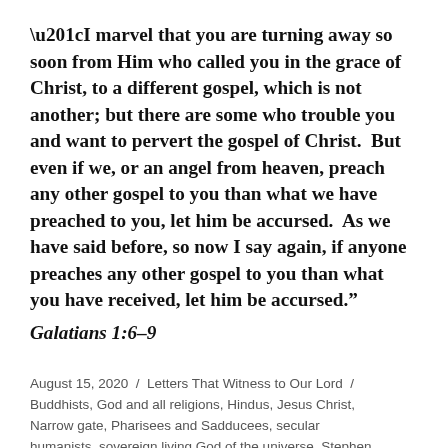“I marvel that you are turning away so soon from Him who called you in the grace of Christ, to a different gospel, which is not another; but there are some who trouble you and want to pervert the gospel of Christ.  But even if we, or an angel from heaven, preach any other gospel to you than what we have preached to you, let him be accursed.  As we have said before, so now I say again, if anyone preaches any other gospel to you than what you have received, let him be accursed.”
Galatians 1:6–9
August 15, 2020 / Letters That Witness to Our Lord / Buddhists, God and all religions, Hindus, Jesus Christ, Narrow gate, Pharisees and Sadducees, secular humanists, sovereign living God of the universe, Stephen